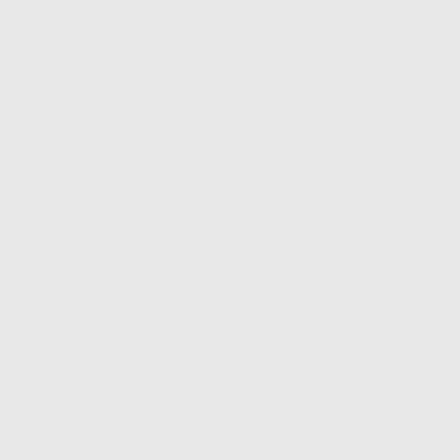not God literally ). You also admit then, that it is a gloss, that was later added. So do you